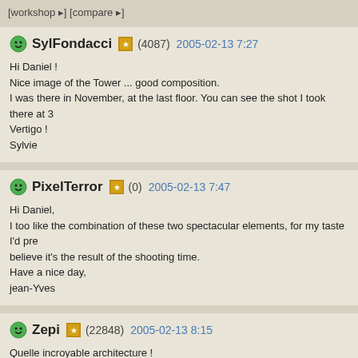[workshop ▸] [compare ▸]
SylFondacci (4087) 2005-02-13 7:27
Hi Daniel !
Nice image of the Tower ... good composition.
I was there in November, at the last floor. You can see the shot I took there at 3...
Vertigo !
Sylvie
PixelTerror (0) 2005-02-13 7:47
Hi Daniel,
I too like the combination of these two spectacular elements, for my taste I'd pre...
believe it's the result of the shooting time.
Have a nice day,
jean-Yves
Zepi (22848) 2005-02-13 8:15
Quelle incroyable architecture !
Cette tour est fascinante !
Le gigantesque pont qui part dans la diagonale de l'image est une pure merveill...
J'adore !
Bien joué Daniell